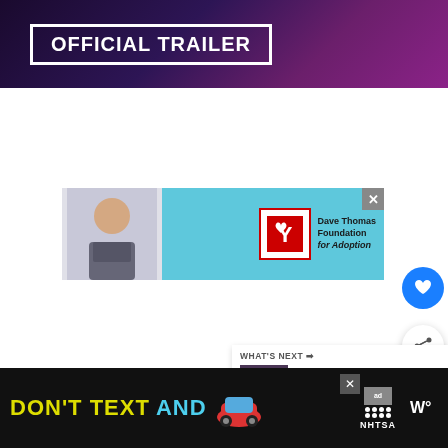[Figure (screenshot): Dark purple/magenta gradient background with 'OFFICIAL TRAILER' text in white bold font inside a white rectangular border, top video thumbnail area]
[Figure (screenshot): Advertisement banner for Dave Thomas Foundation for Adoption featuring a young boy on the left, teal/light blue background, red and white foundation logo on the right]
[Figure (screenshot): Blue circular heart/like button on the right side]
[Figure (screenshot): White circular share button with share icon on the right side]
[Figure (screenshot): What's Next panel showing Forza Horizon 5 Premium thumbnail and title]
[Figure (screenshot): Bottom black advertisement bar with yellow 'DON'T TEXT' and cyan 'AND' text, red car emoji, NHTSA logo and ad label, W app icon]